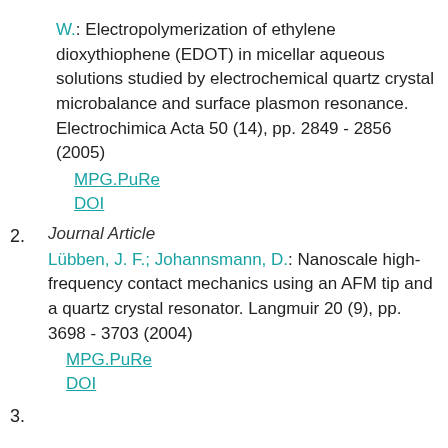W.: Electropolymerization of ethylene dioxythiophene (EDOT) in micellar aqueous solutions studied by electrochemical quartz crystal microbalance and surface plasmon resonance. Electrochimica Acta 50 (14), pp. 2849 - 2856 (2005)
MPG.PuRe
DOI
2. Journal Article
Lübben, J. F.; Johannsmann, D.: Nanoscale high-frequency contact mechanics using an AFM tip and a quartz crystal resonator. Langmuir 20 (9), pp. 3698 - 3703 (2004)
MPG.PuRe
DOI
3.